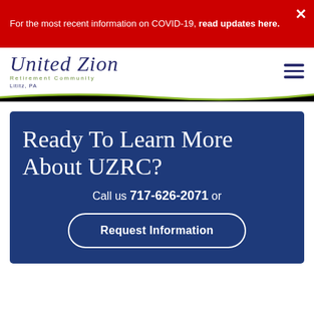For the most recent information on COVID-19, read updates here.
[Figure (logo): United Zion Retirement Community, Lititz, PA logo with script text]
Ready To Learn More About UZRC?
Call us 717-626-2071 or
Request Information